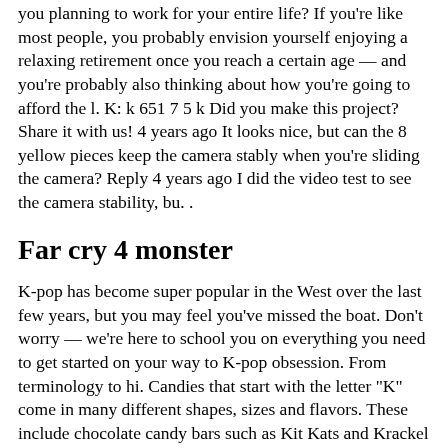you planning to work for your entire life? If you're like most people, you probably envision yourself enjoying a relaxing retirement once you reach a certain age — and you're probably also thinking about how you're going to afford the l. K: k 651 7 5 k Did you make this project? Share it with us! 4 years ago It looks nice, but can the 8 yellow pieces keep the camera stably when you're sliding the camera? Reply 4 years ago I did the video test to see the camera stability, bu. .
Far cry 4 monster
K-pop has become super popular in the West over the last few years, but you may feel you've missed the boat. Don't worry — we're here to school you on everything you need to get started on your way to K-pop obsession. From terminology to hi. Candies that start with the letter "K" come in many different shapes, sizes and flavors. These include chocolate candy bars such as Kit Kats and Krackel bars. Kit Kats are available in standard, king-size, miniature and extra-large options. . Vitamin K is often mentioned in health and wellbeing media, and it's common to see it addressed in respect to various health claims — from anti-aging effects and healthy skin to bone health and a lower risk of cardiovascular disease. But wh. Are you planning to work for your entire life? If you're like most people, you probably envision yourself enjoying a relaxing retirement once you reach a certain age — and you're